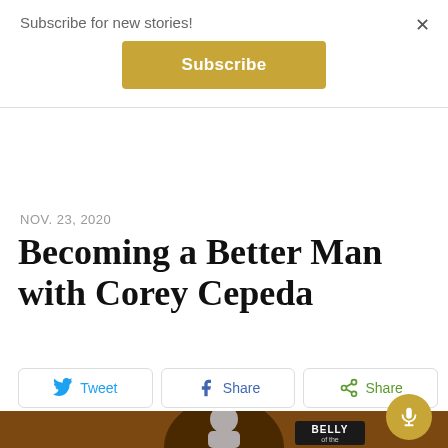Subscribe for new stories!
Subscribe
NOV. 23, 2020
Becoming a Better Man with Corey Cepeda
Tweet
Share
Share
[Figure (illustration): Podcast cover image showing a person silhouette with 'BELLY of the' text on dark brown background]